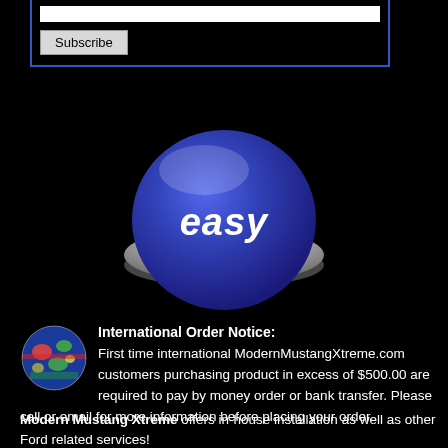[Figure (screenshot): Subscribe input box with blue border and a Subscribe button below]
[Figure (illustration): A large blue 'easy' button with metallic chrome rim, styled like the Staples Easy Button but in blue with a Mustang logo]
International Order Notice: First time international ModernMustangXtreme.com customers purchasing product in excess of $500.00 are required to pay by money order or bank transfer. Please call or email for more information before placing your order.
Modern Mustang Xtreme offers in-house installation as well as other Ford related services!